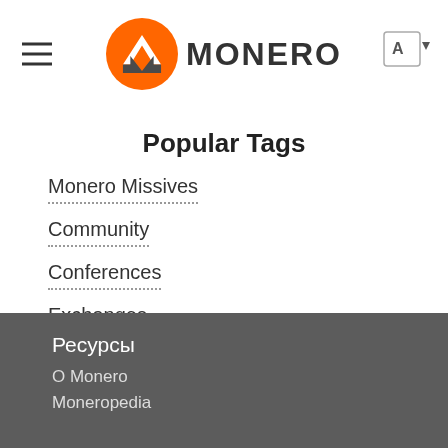MONERO
Popular Tags
Monero Missives
Community
Conferences
Exchanges
Ресурсы
О Monero
Moneropedia